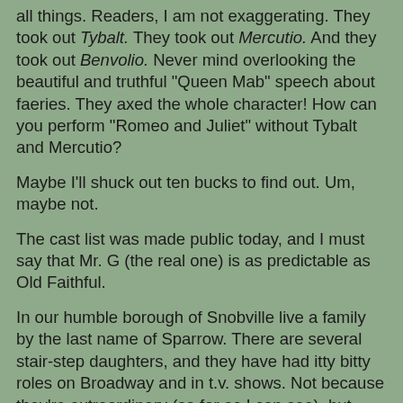all things. Readers, I am not exaggerating. They took out Tybalt. They took out Mercutio. And they took out Benvolio. Never mind overlooking the beautiful and truthful "Queen Mab" speech about faeries. They axed the whole character! How can you perform "Romeo and Juliet" without Tybalt and Mercutio?
Maybe I'll shuck out ten bucks to find out. Um, maybe not.
The cast list was made public today, and I must say that Mr. G (the real one) is as predictable as Old Faithful.
In our humble borough of Snobville live a family by the last name of Sparrow. There are several stair-step daughters, and they have had itty bitty roles on Broadway and in t.v. shows. Not because they're extraordinary (so far as I can see), but probably because their mom is plugged in to these things. Some moms are like that. They ought to be in the back yard building shrines, but they're calling agents and private acting coaches and making long treks to Manhattan.
It's gotten to be funny. If your last name is Sparrow in